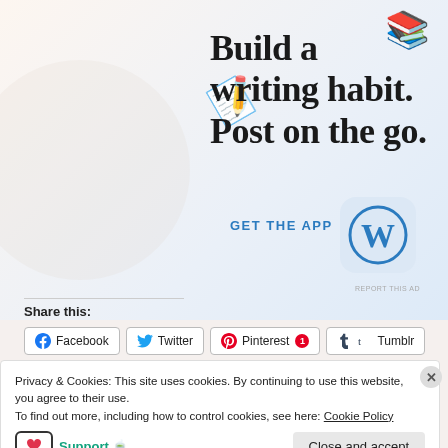[Figure (screenshot): Wordpress app advertisement with title 'Build a writing habit. Post on the go.' with a pencil emoji, book emoji, GET THE APP link, and WordPress logo icon on a light blue/cream gradient background.]
REPORT THIS AD
Share this:
Facebook  Twitter  Pinterest 1  Tumblr
Privacy & Cookies: This site uses cookies. By continuing to use this website, you agree to their use.
To find out more, including how to control cookies, see here: Cookie Policy
Support 🍵
Close and accept